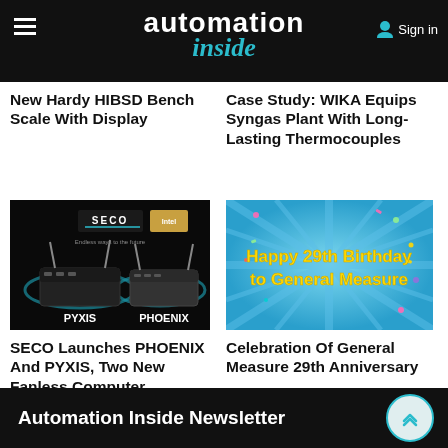automation inside
New Hardy HIBSD Bench Scale With Display
Case Study: WIKA Equips Syngas Plant With Long-Lasting Thermocouples
[Figure (photo): SECO PYXIS and PHOENIX fanless computer units on black background with antennas]
[Figure (photo): Happy 29th Birthday to General Measure celebration graphic with colorful confetti on blue starburst background]
SECO Launches PHOENIX And PYXIS, Two New Fanless Computer Solutions
Celebration Of General Measure 29th Anniversary
Automation Inside Newsletter